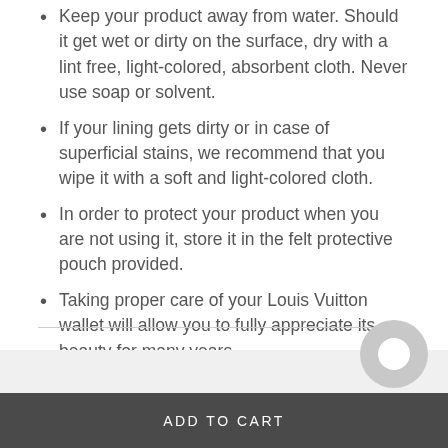Keep your product away from water. Should it get wet or dirty on the surface, dry with a lint free, light-colored, absorbent cloth. Never use soap or solvent.
If your lining gets dirty or in case of superficial stains, we recommend that you wipe it with a soft and light-colored cloth.
In order to protect your product when you are not using it, store it in the felt protective pouch provided.
Taking proper care of your Louis Vuitton wallet will allow you to fully appreciate its beauty for many years.
You may also like
ADD TO CART